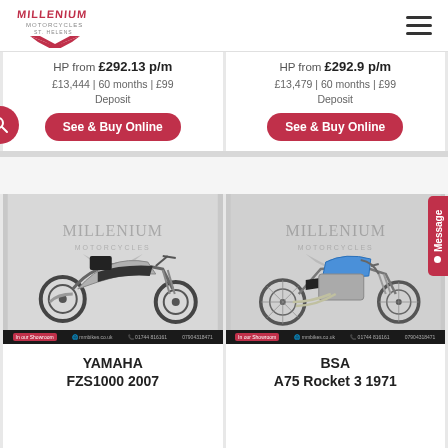[Figure (logo): Millenium Motorcycles logo with red M letters and chevron]
HP from £292.13 p/m
£13,444 | 60 months | £99 Deposit
HP from £292.9 p/m
£13,479 | 60 months | £99 Deposit
See & Buy Online
See & Buy Online
[Figure (photo): Yamaha FZS1000 2007 silver motorcycle parked indoors with Millenium Motorcycles backdrop]
[Figure (photo): BSA A75 Rocket 3 1971 blue vintage motorcycle parked indoors with Millenium Motorcycles backdrop]
YAMAHA
FZS1000 2007
BSA
A75 Rocket 3 1971